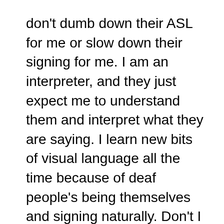don't dumb down their ASL for me or slow down their signing for me. I am an interpreter, and they just expect me to understand them and interpret what they are saying. I learn new bits of visual language all the time because of deaf people's being themselves and signing naturally. Don't I owe them the same genuineness of myself? Perhaps the more I write English or — with the appropriate person — sign English or fingerspell unusual turns of phrase, the more I express who I am and give them the opportunity to learn how a hearing person speaks and writes.
It's not that my place is to teach; it's just that everyone–hearing and deaf alike–can learn more about each other and each other's language when